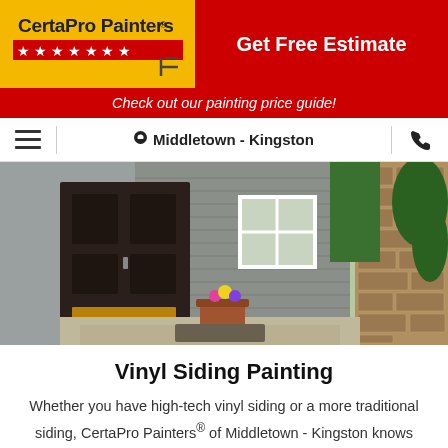[Figure (logo): CertaPro Painters logo with stars on yellow background]
Get Free Estimate
Check out our painting price guide!
Middletown - Kingston
[Figure (photo): Exterior house photo showing dark front door, gray shingle siding, stone column, flower pot, and green shrubbery]
Vinyl Siding Painting
Whether you have high-tech vinyl siding or a more traditional siding, CertaPro Painters® of Middletown - Kingston knows how to restore them. Our team has the right approach to add new life to your exteriors.